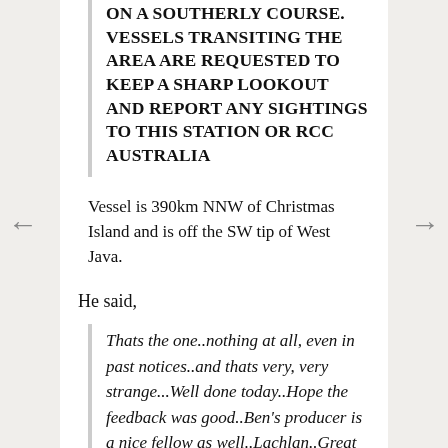ON A SOUTHERLY COURSE. VESSELS TRANSITING THE AREA ARE REQUESTED TO KEEP A SHARP LOOKOUT AND REPORT ANY SIGHTINGS TO THIS STATION OR RCC AUSTRALIA
Vessel is 390km NNW of Christmas Island and is off the SW tip of West Java.
He said,
Thats the one..nothing at all, even in past notices..and thats very, very strange...Well done today..Hope the feedback was good..Ben's producer is a nice fellow as well..Lachlan..Great team..Yes..
A...